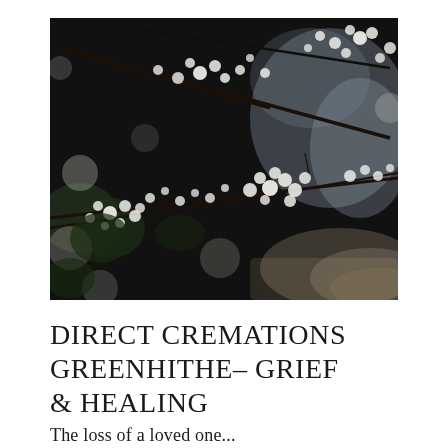[Figure (photo): Close-up photograph of white cherry blossom or spring flowering branches with small white flowers against a dark blurred background, with blurred light background suggesting an outdoor urban or garden setting.]
DIRECT CREMATIONS GREENHITHE– GRIEF & HEALING
The loss of a loved one...